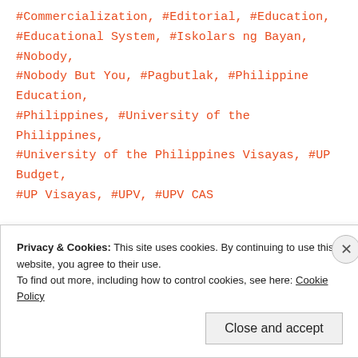#Commercialization, #Editorial, #Education, #Educational System, #Iskolars ng Bayan, #Nobody, #Nobody But You, #Pagbutlak, #Philippine Education, #Philippines, #University of the Philippines, #University of the Philippines Visayas, #UP Budget, #UP Visayas, #UPV, #UPV CAS
Older posts
Privacy & Cookies: This site uses cookies. By continuing to use this website, you agree to their use. To find out more, including how to control cookies, see here: Cookie Policy
Close and accept